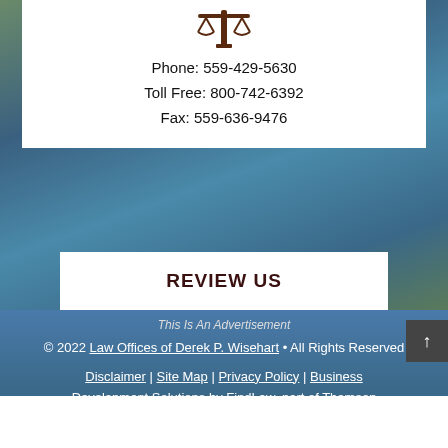[Figure (logo): Law firm logo with scales of justice icon in brown/dark red]
Phone: 559-429-5630
Toll Free: 800-742-6392
Fax: 559-636-9476
[Figure (infographic): Background aerial/water landscape photo with blue tones]
REVIEW US
This Is An Advertisement
© 2022 Law Offices of Derek P. Wisehart • All Rights Reserved
Disclaimer | Site Map | Privacy Policy | Business Development Solutions by FindLaw, part of Thomson Reuters